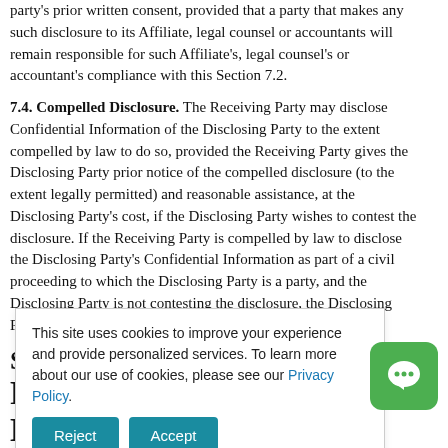party's prior written consent, provided that a party that makes any such disclosure to its Affiliate, legal counsel or accountants will remain responsible for such Affiliate's, legal counsel's or accountant's compliance with this Section 7.2.
7.4. Compelled Disclosure. The Receiving Party may disclose Confidential Information of the Disclosing Party to the extent compelled by law to do so, provided the Receiving Party gives the Disclosing Party prior notice of the compelled disclosure (to the extent legally permitted) and reasonable assistance, at the Disclosing Party's cost, if the Disclosing Party wishes to contest the disclosure. If the Receiving Party is compelled by law to disclose the Disclosing Party's Confidential Information as part of a civil proceeding to which the Disclosing Party is a party, and the Disclosing Party is not contesting the disclosure, the Disclosing Party will reimburse the Receiving Party for its [text continues] ...cure access to
This site uses cookies to improve your experience and provide personalized services. To learn more about our use of cookies, please see our Privacy Policy.
...SIVE REMEDIES AND DISCLAIMERS